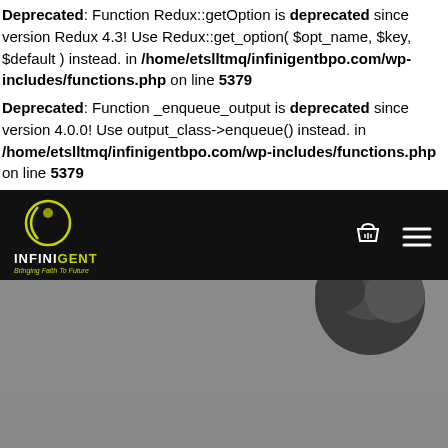Deprecated: Function Redux::getOption is deprecated since version Redux 4.3! Use Redux::get_option( $opt_name, $key, $default ) instead. in /home/etslltmq/infinigentbpo.com/wp-includes/functions.php on line 5379
Deprecated: Function _enqueue_output is deprecated since version 4.0.0! Use output_class->enqueue() instead. in /home/etslltmq/infinigentbpo.com/wp-includes/functions.php on line 5379
[Figure (screenshot): InfiniGent website navigation bar with logo on dark background]
[Figure (photo): Partial view of a person's head/hair at the bottom of the page]